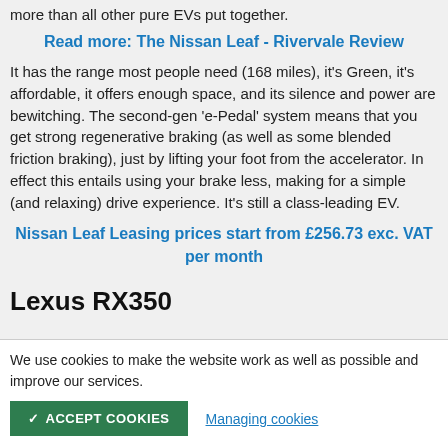more than all other pure EVs put together.
Read more: The Nissan Leaf - Rivervale Review
It has the range most people need (168 miles), it's Green, it's affordable, it offers enough space, and its silence and power are bewitching. The second-gen 'e-Pedal' system means that you get strong regenerative braking (as well as some blended friction braking), just by lifting your foot from the accelerator. In effect this entails using your brake less, making for a simple (and relaxing) drive experience. It's still a class-leading EV.
Nissan Leaf Leasing prices start from £256.73 exc. VAT per month
Lexus RX350
We use cookies to make the website work as well as possible and improve our services.
ACCEPT COOKIES
Managing cookies